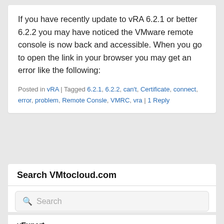If you have recently update to vRA 6.2.1 or better 6.2.2 you may have noticed the VMware remote console is now back and accessible. When you go to open the link in your browser you may get an error like the following:
Posted in vRA | Tagged 6.2.1, 6.2.2, can't, Certificate, connect, error, problem, Remote Consle, VMRC, vra | 1 Reply
Search VMtocloud.com
Search
vExpert
[Figure (logo): VMware logo in white text on black background with registered trademark symbol]